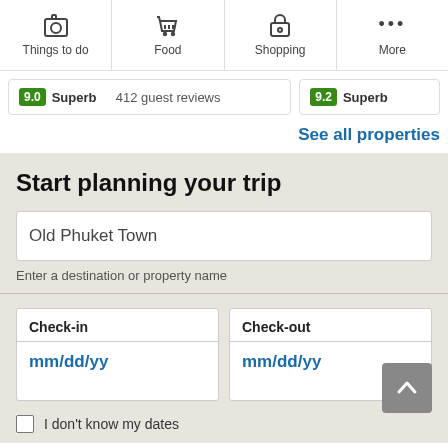Things to do | Food | Shopping | More
9.0 Superb 412 guest reviews
9.2 Superb
See all properties
Start planning your trip
Old Phuket Town
Enter a destination or property name
Check-in
mm/dd/yy
Check-out
mm/dd/yy
I don't know my dates